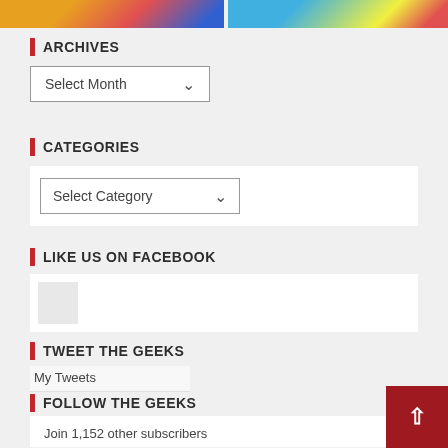[Figure (illustration): Top strip of comic book cover images cropped at the top of the page]
ARCHIVES
[Figure (screenshot): Select Month dropdown UI element]
CATEGORIES
[Figure (screenshot): Select Category dropdown UI element inside white box]
LIKE US ON FACEBOOK
[Figure (screenshot): Facebook widget area with small placeholder box]
TWEET THE GEEKS
My Tweets
FOLLOW THE GEEKS
Join 1,152 other subscribers